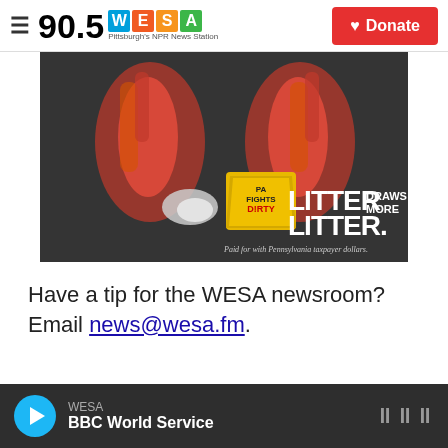90.5 WESA Pittsburgh's NPR News Station | Donate
[Figure (photo): PA Fights Dirty anti-litter advertisement showing litter on asphalt with text 'LITTER DRAWS MORE LITTER.' and tagline 'Paid for with Pennsylvania taxpayer dollars.']
Have a tip for the WESA newsroom? Email news@wesa.fm.
WESA BBC World Service